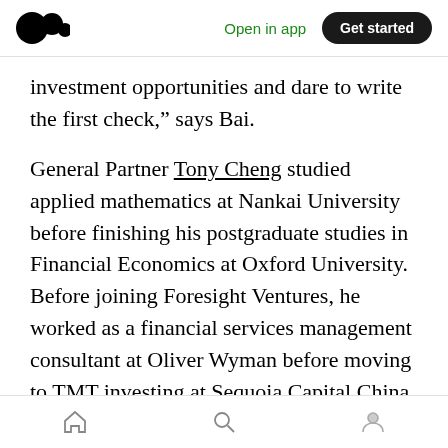Medium app header with logo, Open in app, Get started
investment opportunities and dare to write the first check,” says Bai.
General Partner Tony Cheng studied applied mathematics at Nankai University before finishing his postgraduate studies in Financial Economics at Oxford University. Before joining Foresight Ventures, he worked as a financial services management consultant at Oliver Wyman before moving to TMT investing at Sequoia Capital China and 3G Capital.
“I’m particularly interested in crypto
Bottom navigation bar with home, search, and profile icons